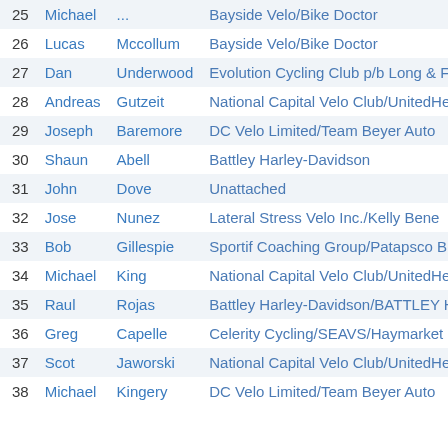| # | First | Last | Team |
| --- | --- | --- | --- |
| 25 | Michael | ... | Bayside Velo/Bike Doctor |
| 26 | Lucas | Mccollum | Bayside Velo/Bike Doctor |
| 27 | Dan | Underwood | Evolution Cycling Club p/b Long & F |
| 28 | Andreas | Gutzeit | National Capital Velo Club/UnitedHe |
| 29 | Joseph | Baremore | DC Velo Limited/Team Beyer Auto |
| 30 | Shaun | Abell | Battley Harley-Davidson |
| 31 | John | Dove | Unattached |
| 32 | Jose | Nunez | Lateral Stress Velo Inc./Kelly Bene |
| 33 | Bob | Gillespie | Sportif Coaching Group/Patapsco Bic |
| 34 | Michael | King | National Capital Velo Club/UnitedHe |
| 35 | Raul | Rojas | Battley Harley-Davidson/BATTLEY H-D |
| 36 | Greg | Capelle | Celerity Cycling/SEAVS/Haymarket |
| 37 | Scot | Jaworski | National Capital Velo Club/UnitedHe |
| 38 | Michael | Kingery | DC Velo Limited/Team Beyer Auto |